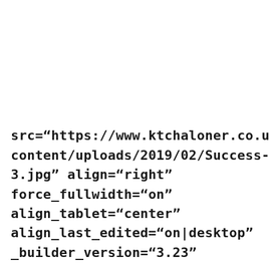src="https://www.ktchaloner.co.uk/wp-content/uploads/2019/02/Success-3.jpg" align="right" force_fullwidth="on" align_tablet="center" align_last_edited="on|desktop" _builder_version="3.23"